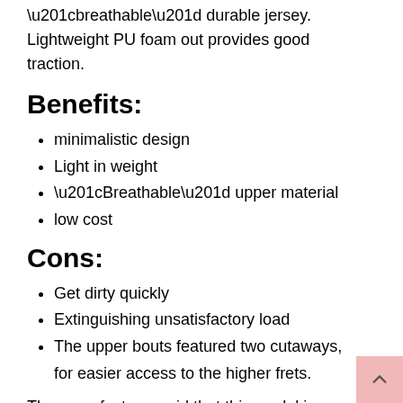“breathable” durable jersey. Lightweight PU foam out provides good traction.
Benefits:
minimalistic design
Light in weight
“Breathable” upper material
low cost
Cons:
Get dirty quickly
Extinguishing unsatisfactory load
The upper bouts featured two cutaways, for easier access to the higher frets.
The manufacturer said that this model is